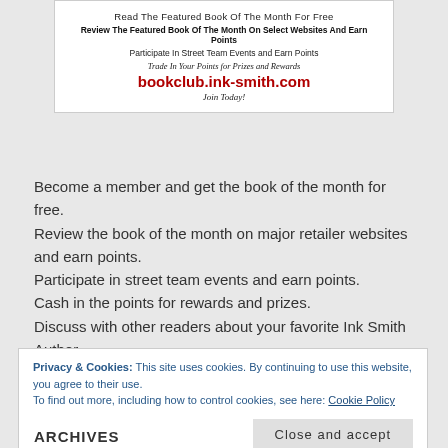[Figure (infographic): Book club promotional banner for bookclub.ink-smith.com with lines: Read The Featured Book Of The Month For Free; Review The Featured Book Of The Month On Select Websites And Earn Points; Participate In Street Team Events and Earn Points; Trade In Your Points for Prizes and Rewards; bookclub.ink-smith.com; Join Today!]
Become a member and get the book of the month for free. Review the book of the month on major retailer websites and earn points. Participate in street team events and earn points. Cash in the points for rewards and prizes. Discuss with other readers about your favorite Ink Smith Author.
Privacy & Cookies: This site uses cookies. By continuing to use this website, you agree to their use. To find out more, including how to control cookies, see here: Cookie Policy
ARCHIVES